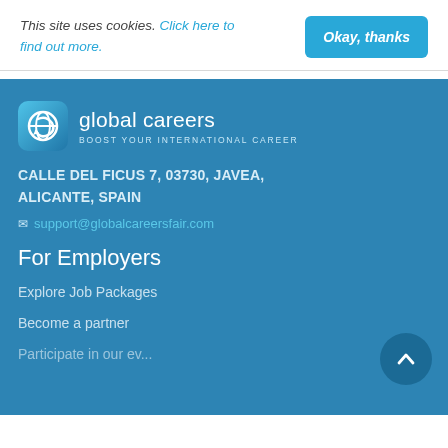This site uses cookies. Click here to find out more.
Okay, thanks
[Figure (logo): Global Careers logo — rounded square icon with compass/globe symbol, text 'global careers' and tagline 'BOOST YOUR INTERNATIONAL CAREER']
CALLE DEL FICUS 7, 03730, JAVEA, ALICANTE, SPAIN
support@globalcareersfair.com
For Employers
Explore Job Packages
Become a partner
Participate in our events